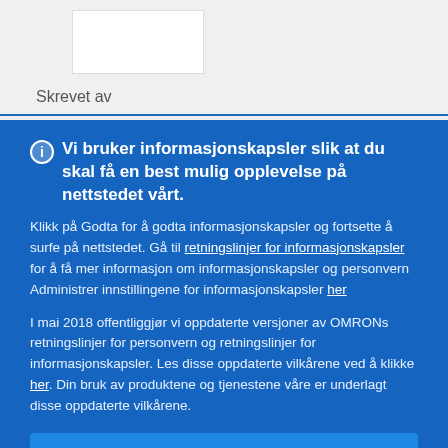[Figure (logo): White rectangle placeholder for logo/image]
Skrevet av
Vi bruker informasjonskapsler slik at du skal få en best mulig opplevelse på nettstedet vårt. Klikk på Godta for å godta informasjonskapsler og fortsette å surfe på nettstedet. Gå til retningslinjer for informasjonskapsler for å få mer informasjon om informasjonskapsler og personvern Administrer innstillingene for informasjonskapsler her
I mai 2018 offentliggjør vi oppdaterte versjoner av OMRONs retningslinjer for personvern og retningslinjer for informasjonskapsler. Les disse oppdaterte vilkårene ved å klikke her. Din bruk av produktene og tjenestene våre er underlagt disse oppdaterte vilkårene.
Godta